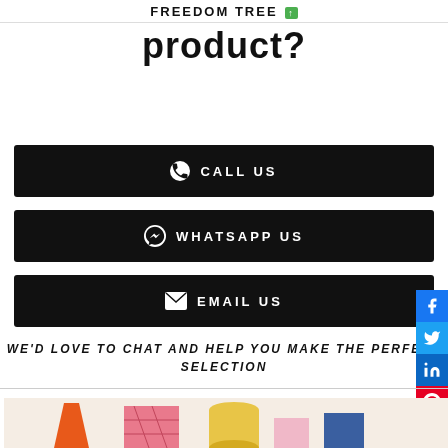FREEDOM TREE
product?
CALL US
WHATSAPP US
EMAIL US
WE'D LOVE TO CHAT AND HELP YOU MAKE THE PERFECT SELECTION
[Figure (photo): Colorful decorative items including orange vase, patterned boxes and cylindrical containers arranged on a light background]